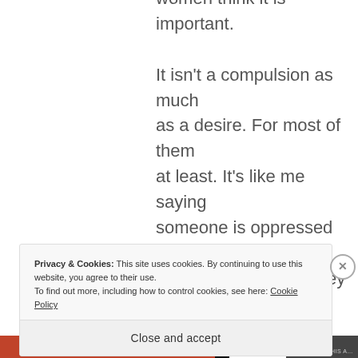women think it is important. It isn't a compulsion as much as a desire. For most of them at least. It's like me saying someone is oppressed or compelled because they are wearing a hijaab or no makeup or not working. It's more of a choice.
Privacy & Cookies: This site uses cookies. By continuing to use this website, you agree to their use.
To find out more, including how to control cookies, see here: Cookie Policy
Close and accept